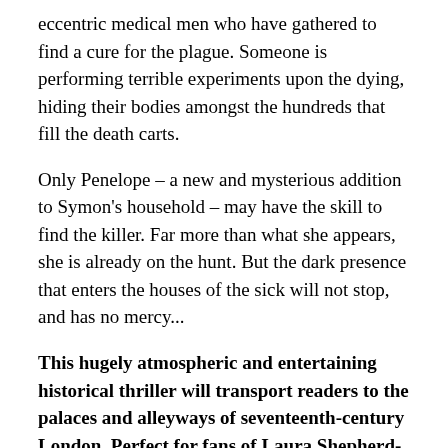eccentric medical men who have gathered to find a cure for the plague. Someone is performing terrible experiments upon the dying, hiding their bodies amongst the hundreds that fill the death carts.
Only Penelope – a new and mysterious addition to Symon's household – may have the skill to find the killer. Far more than what she appears, she is already on the hunt. But the dark presence that enters the houses of the sick will not stop, and has no mercy...
This hugely atmospheric and entertaining historical thriller will transport readers to the palaces and alleyways of seventeenth-century London. Perfect for fans of Laura Shepherd-Robinson, Andrew Taylor and C.J. Sansom.
– – – – – – – – – – – – – – – – – – – – – – – – – – – – – – – – – – – – – – – – – – –